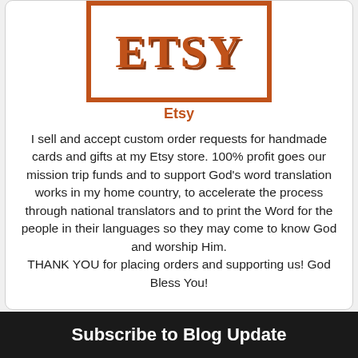[Figure (logo): Etsy logo: large orange text 'ETSY' inside an orange border box, with 'Etsy' label below in orange]
I sell and accept custom order requests for handmade cards and gifts at my Etsy store. 100% profit goes our mission trip funds and to support God's word translation works in my home country, to accelerate the process through national translators and to print the Word for the people in their languages so they may come to know God and worship Him.
THANK YOU for placing orders and supporting us! God Bless You!
Subscribe to Blog Update